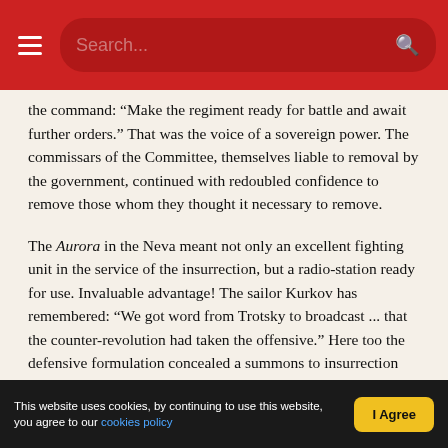Search...
the command: “Make the regiment ready for battle and await further orders.” That was the voice of a sovereign power. The commissars of the Committee, themselves liable to removal by the government, continued with redoubled confidence to remove those whom they thought it necessary to remove.
The Aurora in the Neva meant not only an excellent fighting unit in the service of the insurrection, but a radio-station ready for use. Invaluable advantage! The sailor Kurkov has remembered: “We got word from Trotsky to broadcast ... that the counter-revolution had taken the offensive.” Here too the defensive formulation concealed a summons to insurrection addressed to the whole country. The garrisons guarding the approaches to Petrograd were ordered by radio from the Aurora to hold up the counter-revolutionary echelons, and, in case admonitions were inadequate, to employ force. All revolutionary organisations were placed under obligation “to sit continually, accumulating all possible information as to the plans and activities of the conspirators.” There was no lack of proclamations, however, the word was not divorced from the deed, but
This website uses cookies, by continuing to use this website, you agree to our cookies policy  I Agree